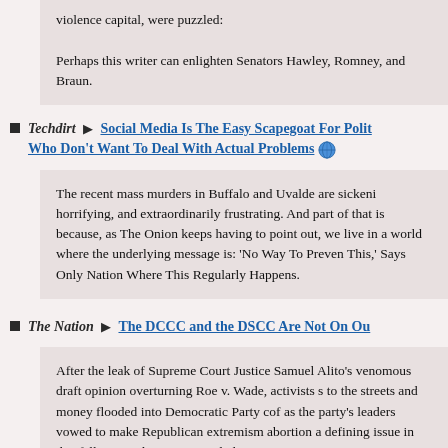violence capital, were puzzled:

Perhaps this writer can enlighten Senators Hawley, Romney, and Braun.
Techdirt 🔲 Social Media Is The Easy Scapegoat For Politicians Who Don't Want To Deal With Actual Problems 🌐
The recent mass murders in Buffalo and Uvalde are sickening, horrifying, and extraordinarily frustrating. And part of that is because, as The Onion keeps having to point out, we live in a world where the underlying message is: 'No Way To Prevent This,' Says Only Nation Where This Regularly Happens.
The Nation 🔲 The DCCC and the DSCC Are Not On Our Side
After the leak of Supreme Court Justice Samuel Alito's venomous draft opinion overturning Roe v. Wade, activists took to the streets and money flooded into Democratic Party coffers as the party's leaders vowed to make Republican extremism on abortion a defining issue in this fall's critical congressional elections.